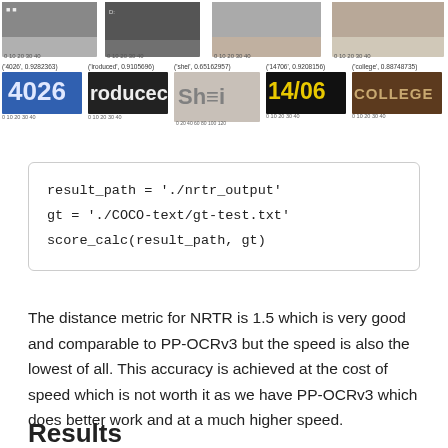[Figure (screenshot): Top strip of small thumbnail images showing OCR detection results on various scene text images]
[Figure (screenshot): Middle strip of OCR result images showing labels: ('4026', 0.9282363), ('iroduced', 0.9105696), ('shei', 0.65162957), ('14706', 0.9208156), ('college', 0.88748735) with corresponding text region crops: blue '4026', dark 'produced', gray 'Shell', yellow '14/06', brown 'COLLEGE']
The distance metric for NRTR is 1.5 which is very good and comparable to PP-OCRv3 but the speed is also the lowest of all. This accuracy is achieved at the cost of speed which is not worth it as we have PP-OCRv3 which does better work and at a much higher speed.
Results